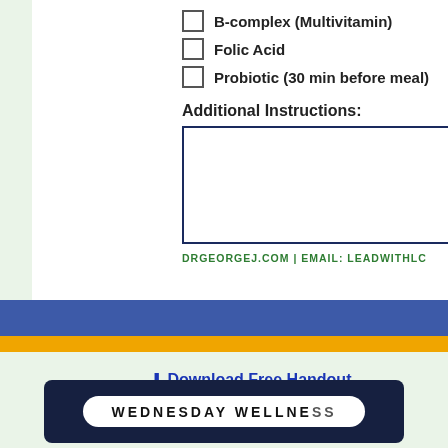B-complex (Multivitamin)
Folic Acid
Probiotic (30 min before meal)
Additional Instructions:
DRGEORGEJ.COM | EMAIL: LEADWITHLC
⬇ Download Free Handout
WEDNESDAY WELLNESS